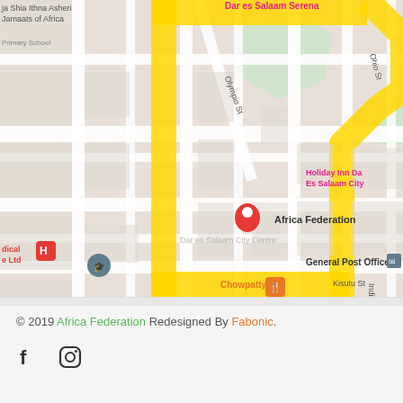[Figure (map): Google Maps screenshot showing Dar es Salaam city center area with Africa Federation location marked with a red pin. Notable labels include: Dar es Salaam Serena (top right, pink), ja Shia Ithna Asheri Jamaats of Africa (top left), Primary School (top left), Ohio St (right), Holiday Inn Dar Es Salaam City (right, pink), Olympio St (center), Africa Federation (center, with red marker), Dar es Salaam City Centre (center), dical e Ltd (left, red), Dar es Salaam Institute of Technology (left), Chowpatty (center-left, orange), Kisutu St (center), India St (right), General Post Office (right), Hotel Sapphire (center, pink), Mainz Printways & Stationers (center), City Mall (left), AFRICAN RELIEF ORGANIZATION (center-left), Youth for Africa Organisation (right). A yellow route path is highlighted on the map.]
© 2019 Africa Federation Redesigned By Fabonic.
[Figure (logo): Facebook 'f' icon in dark gray/black]
[Figure (logo): Instagram camera outline icon in dark gray/black]